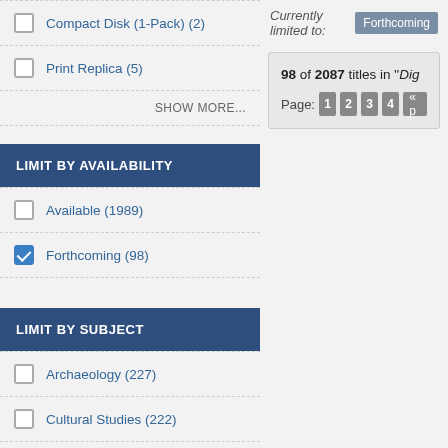Compact Disk (1-Pack) (2)
Print Replica (5)
SHOW MORE...
LIMIT BY AVAILABILITY
Available (1989)
Forthcoming (98)
LIMIT BY SUBJECT
Archaeology (227)
Cultural Studies (222)
Currently limited to: Forthcoming
98 of 2087 titles in "Dig
Page: 1 2 3 4 « p